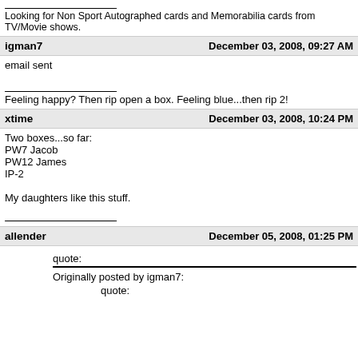Looking for Non Sport Autographed cards and Memorabilia cards from TV/Movie shows.
igman7 — December 03, 2008, 09:27 AM
email sent
Feeling happy? Then rip open a box. Feeling blue...then rip 2!
xtime — December 03, 2008, 10:24 PM
Two boxes...so far:
PW7 Jacob
PW12 James
IP-2

My daughters like this stuff.
allender — December 05, 2008, 01:25 PM
quote:
Originally posted by igman7:
quote: